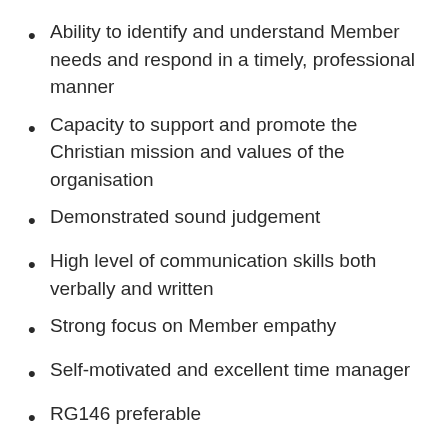Ability to identify and understand Member needs and respond in a timely, professional manner
Capacity to support and promote the Christian mission and values of the organisation
Demonstrated sound judgement
High level of communication skills both verbally and written
Strong focus on Member empathy
Self-motivated and excellent time manager
RG146 preferable